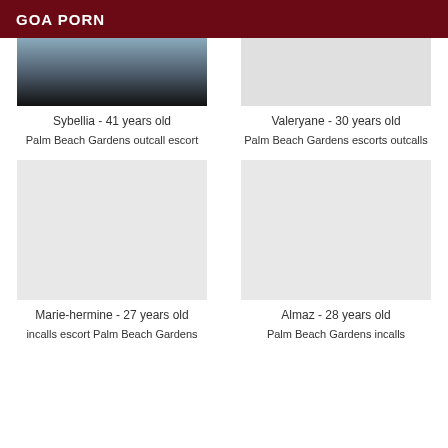GOA PORN
[Figure (photo): Partial photo of person, dark background]
Sybellia - 41 years old
Palm Beach Gardens outcall escort
[Figure (photo): Empty/white image placeholder for Valeryane]
Valeryane - 30 years old
Palm Beach Gardens escorts outcalls
[Figure (photo): Empty/white image placeholder for Marie-hermine]
Marie-hermine - 27 years old
incalls escort Palm Beach Gardens
[Figure (photo): Empty/white image placeholder for Almaz]
Almaz - 28 years old
Palm Beach Gardens incalls